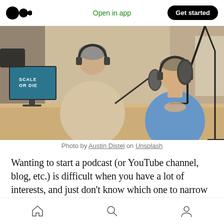Open in app  Get started
[Figure (photo): Two people at a podcast recording studio. One person is seen from behind wearing headphones and a beige shirt. The other person faces the camera, wearing a blue shirt and headphones, speaking into a microphone. A monitor showing 'SCALE OR DIE' is visible in the background.]
Photo by Austin Distel on Unsplash
Wanting to start a podcast (or YouTube channel, blog, etc.) is difficult when you have a lot of interests, and just don't know which one to narrow in on for your audience.
Home  Search  Profile